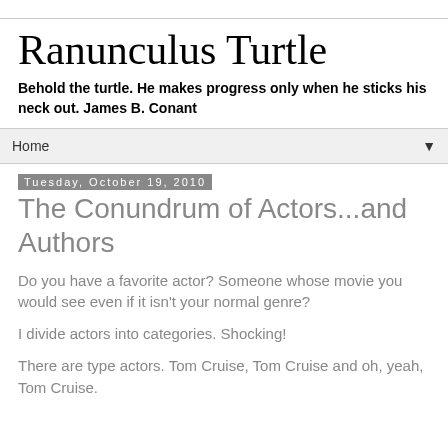Ranunculus Turtle
Behold the turtle. He makes progress only when he sticks his neck out. James B. Conant
Home
Tuesday, October 19, 2010
The Conundrum of Actors...and Authors
Do you have a favorite actor? Someone whose movie you would see even if it isn't your normal genre?
I divide actors into categories. Shocking!
There are type actors. Tom Cruise, Tom Cruise and oh, yeah, Tom Cruise.